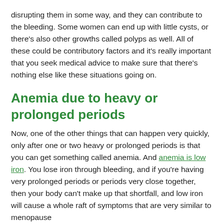disrupting them in some way, and they can contribute to the bleeding. Some women can end up with little cysts, or there's also other growths called polyps as well. All of these could be contributory factors and it's really important that you seek medical advice to make sure that there's nothing else like these situations going on.
Anemia due to heavy or prolonged periods
Now, one of the other things that can happen very quickly, only after one or two heavy or prolonged periods is that you can get something called anemia. And anemia is low iron. You lose iron through bleeding, and if you're having very prolonged periods or periods very close together, then your body can't make up that shortfall, and low iron will cause a whole raft of symptoms that are very similar to menopause